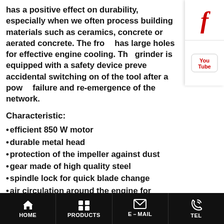has a positive effect on durability, especially when we often process building materials such as ceramics, concrete or aerated concrete. The front has large holes for effective engine cooling. The grinder is equipped with a safety device preventing accidental switching on of the tool after a power failure and re-emergence of the network.
[Figure (logo): Facebook logo icon - red letter f]
[Figure (logo): YouTube logo icon - red You Tube text]
Characteristic:
efficient 850 W motor
durable metal head
protection of the impeller against dust
gear made of high quality steel
spindle lock for quick blade change
air circulation around the engine for effective cooling
Intended use / Application
Grinder is used for cutting...
HOME  PRODUCTS  E-MAIL  TEL